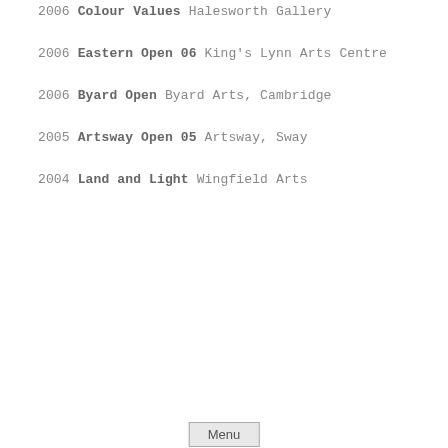2006 Colour Values Halesworth Gallery
2006 Eastern Open 06 King's Lynn Arts Centre
2006 Byard Open Byard Arts, Cambridge
2005 Artsway Open 05 Artsway, Sway
2004 Land and Light Wingfield Arts
[Figure (other): Menu navigation button]